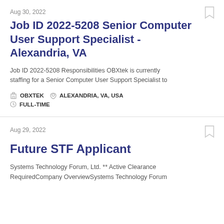Aug 30, 2022
Job ID 2022-5208 Senior Computer User Support Specialist - Alexandria, VA
Job ID 2022-5208 Responsibilities OBXtek is currently staffing for a Senior Computer User Support Specialist to
OBXTEK   ALEXANDRIA, VA, USA   FULL-TIME
Aug 29, 2022
Future STF Applicant
Systems Technology Forum, Ltd. ** Active Clearance RequiredCompany OverviewSystems Technology Forum